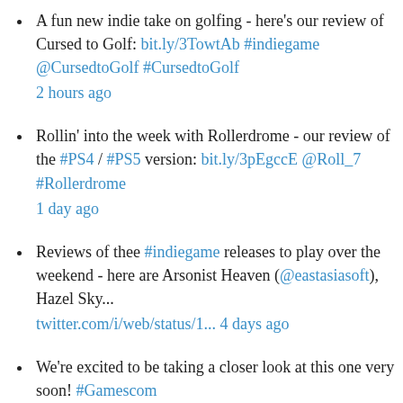A fun new indie take on golfing - here's our review of Cursed to Golf: bit.ly/3TowtAb #indiegame @CursedtoGolf #CursedtoGolf 2 hours ago
Rollin' into the week with Rollerdrome - our review of the #PS4 / #PS5 version: bit.ly/3pEgccE @Roll_7 #Rollerdrome 1 day ago
Reviews of thee #indiegame releases to play over the weekend - here are Arsonist Heaven (@eastasiasoft), Hazel Sky... twitter.com/i/web/status/1... 4 days ago
We're excited to be taking a closer look at this one very soon! #Gamescom twitter.com/BrokenRoadsGam... 4 days ago